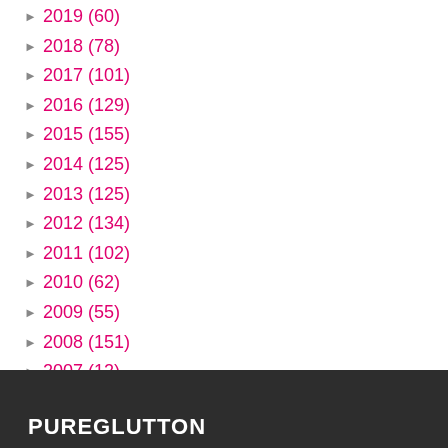► 2019 (60)
► 2018 (78)
► 2017 (101)
► 2016 (129)
► 2015 (155)
► 2014 (125)
► 2013 (125)
► 2012 (134)
► 2011 (102)
► 2010 (62)
► 2009 (55)
► 2008 (151)
► 2007 (12)
PUREGLUTTON